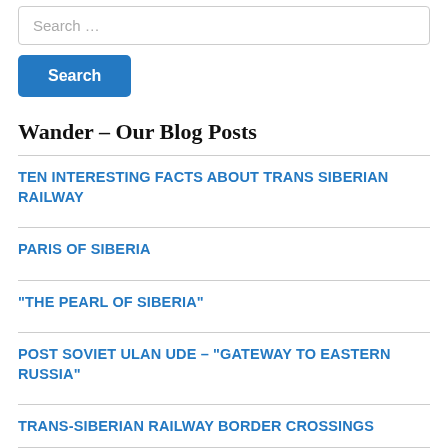Search …
Search
Wander – Our Blog Posts
TEN INTERESTING FACTS ABOUT TRANS SIBERIAN RAILWAY
PARIS OF SIBERIA
“THE PEARL OF SIBERIA”
POST SOVIET ULAN UDE – “GATEWAY TO EASTERN RUSSIA”
TRANS-SIBERIAN RAILWAY BORDER CROSSINGS